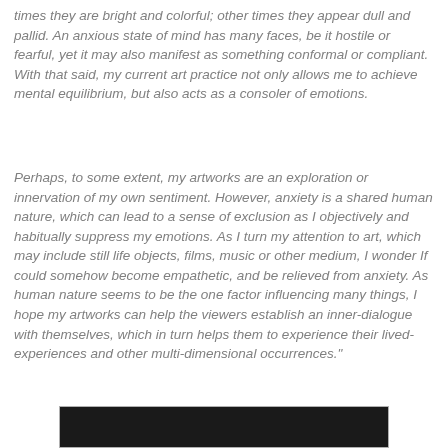times they are bright and colorful; other times they appear dull and pallid. An anxious state of mind has many faces, be it hostile or fearful, yet it may also manifest as something conformal or compliant. With that said, my current art practice not only allows me to achieve mental equilibrium, but also acts as a consoler of emotions.
Perhaps, to some extent, my artworks are an exploration or innervation of my own sentiment. However, anxiety is a shared human nature, which can lead to a sense of exclusion as I objectively and habitually suppress my emotions. As I turn my attention to art, which may include still life objects, films, music or other medium, I wonder If could somehow become empathetic, and be relieved from anxiety. As human nature seems to be the one factor influencing many things, I hope my artworks can help the viewers establish an inner-dialogue with themselves, which in turn helps them to experience their lived-experiences and other multi-dimensional occurrences."
[Figure (photo): Partial view of a dark photograph or artwork at the bottom of the page]